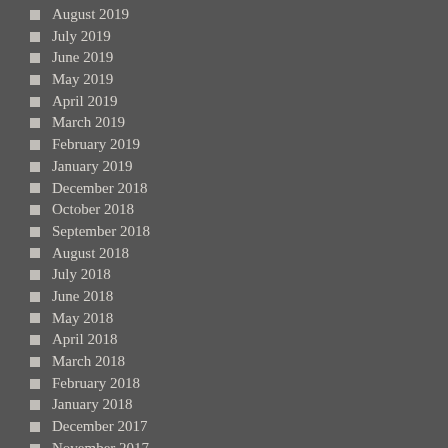August 2019
July 2019
June 2019
May 2019
April 2019
March 2019
February 2019
January 2019
December 2018
October 2018
September 2018
August 2018
July 2018
June 2018
May 2018
April 2018
March 2018
February 2018
January 2018
December 2017
November 2017
October 2017
September 2017
August 2017
July 2017